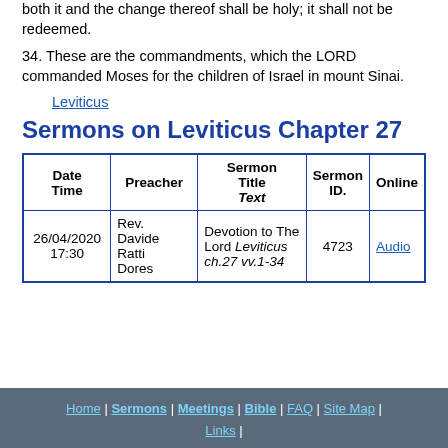both it and the change thereof shall be holy; it shall not be redeemed.
34. These are the commandments, which the LORD commanded Moses for the children of Israel in mount Sinai.
Leviticus
Sermons on Leviticus Chapter 27
| Date Time | Preacher | Sermon Title Text | Sermon ID. | Online |
| --- | --- | --- | --- | --- |
| 26/04/2020 17:30 | Rev. Davide Ratti Dores | Devotion to The Lord Leviticus ch.27 vv.1-34 | 4723 | Audio |
Home | Sermons | Meetings | Bible | FAQ | Site Map | Links |